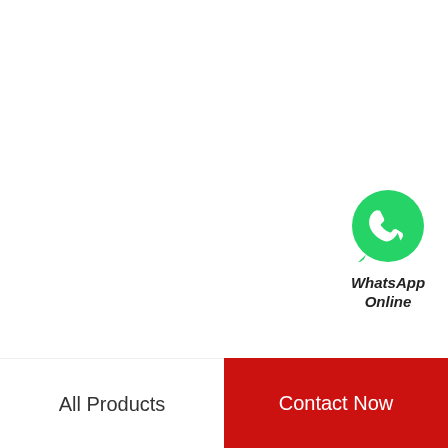[Figure (logo): WhatsApp green circle icon with white phone handset, with text 'WhatsApp Online' below in bold italic]
WhatsApp Online
All Products | Contact Now